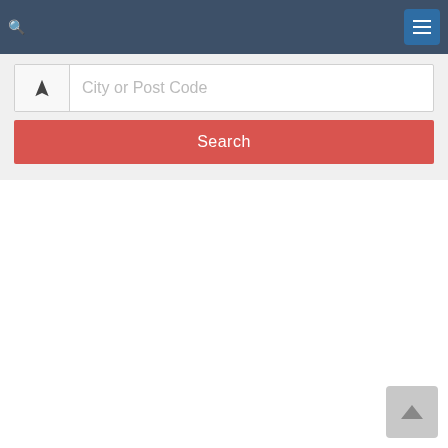City or Post Code
City or Post Code
Search